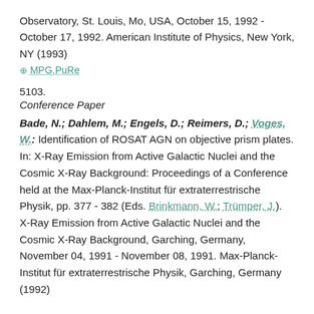Observatory, St. Louis, Mo, USA, October 15, 1992 - October 17, 1992. American Institute of Physics, New York, NY (1993)
⊕ MPG.PuRe
5103.
Conference Paper
Bade, N.; Dahlem, M.; Engels, D.; Reimers, D.; Voges, W.: Identification of ROSAT AGN on objective prism plates. In: X-Ray Emission from Active Galactic Nuclei and the Cosmic X-Ray Background: Proceedings of a Conference held at the Max-Planck-Institut für extraterrestrische Physik, pp. 377 - 382 (Eds. Brinkmann, W.; Trümper, J.). X-Ray Emission from Active Galactic Nuclei and the Cosmic X-Ray Background, Garching, Germany, November 04, 1991 - November 08, 1991. Max-Planck-Institut für extraterrestrische Physik, Garching, Germany (1992)